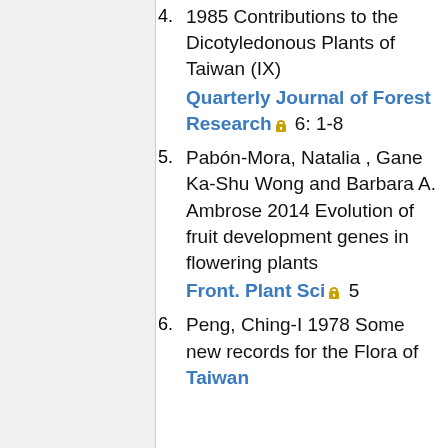1985 Contributions to the Dicotyledonous Plants of Taiwan (IX) Quarterly Journal of Forest Research 🔒 6: 1-8
5. Pabón-Mora, Natalia , Gane Ka-Shu Wong and Barbara A. Ambrose 2014 Evolution of fruit development genes in flowering plants Front. Plant Sci 🔒 5
6. Peng, Ching-I 1978 Some new records for the Flora of Taiwan